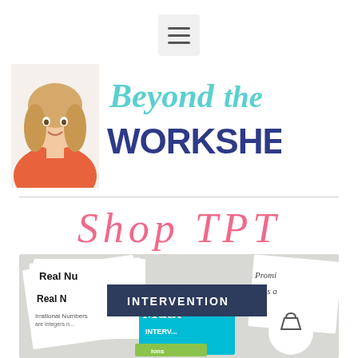[Figure (screenshot): Hamburger menu button (three horizontal lines) on a light gray rounded background]
[Figure (logo): Beyond the Worksheet logo with a woman's headshot photo on the left, teal cursive text 'Beyond the' and dark blue bold text 'WORKSHEET' on the right]
Shop TPT
[Figure (photo): Photo collage of math intervention worksheets and materials including 'Real Numbers' papers, '8th Grade Math Intervention' colorful cover, with an 'INTERVENTION' dark navy banner overlay and a shopping bag icon in a white circle]